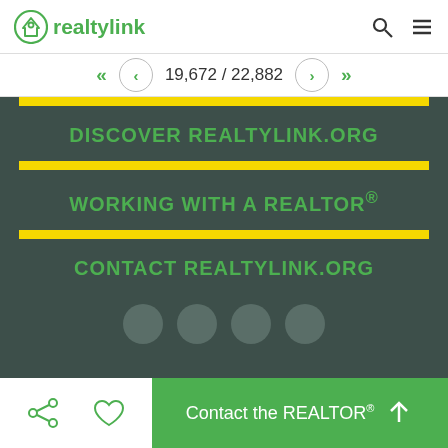realtylink
19,672 / 22,882
DISCOVER REALTYLINK.ORG
WORKING WITH A REALTOR®
CONTACT REALTYLINK.ORG
Contact the REALTOR®